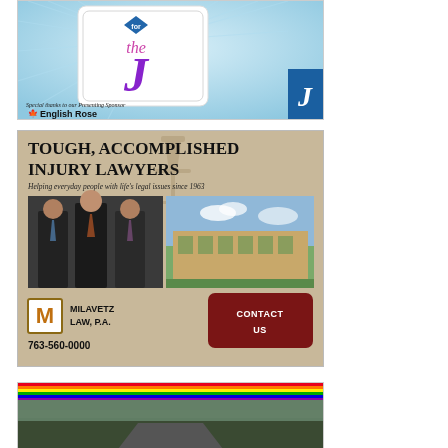[Figure (advertisement): Advertisement for 'for the J' event with English Rose as Presenting Sponsor. Light blue sunburst background with playing card style graphic showing 'for the J' text and a blue J box logo on right side.]
[Figure (advertisement): Milavetz Law P.A. advertisement. Tan/sandy background with scales of justice watermark. Text: TOUGH, ACCOMPLISHED INJURY LAWYERS. Helping everyday people with life's legal issues since 1963. Photos of three lawyers and a building. Logo with M in gold box. Contact US button in dark red. Phone: 763-560-0000.]
[Figure (advertisement): Partial advertisement at bottom with rainbow stripe and dark green/landscape background, partially cropped.]